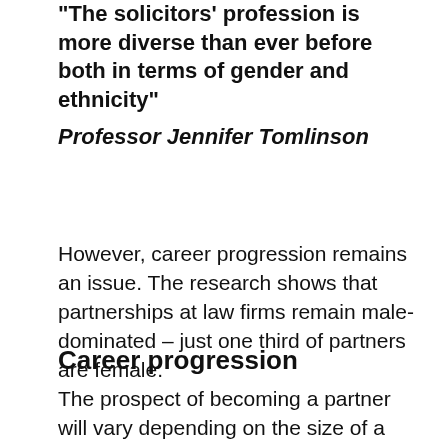"The solicitors' profession is more diverse than ever before both in terms of gender and ethnicity"
Professor Jennifer Tomlinson
However, career progression remains an issue. The research shows that partnerships at law firms remain male-dominated – just one third of partners are female.
Career progression
The prospect of becoming a partner will vary depending on the size of a firm. White males are more than three times more likely to become a partner in large corporate firms than white